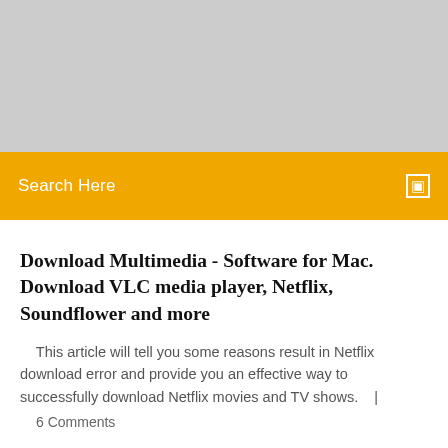[Figure (other): Gray placeholder banner area at the top of the page]
Search Here
Download Multimedia - Software for Mac. Download VLC media player, Netflix, Soundflower and more
This article will tell you some reasons result in Netflix download error and provide you an effective way to successfully download Netflix movies and TV shows.    |
6 Comments